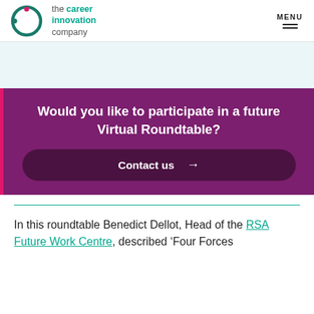the career innovation company | MENU
Would you like to participate in a future Virtual Roundtable?
Contact us →
In this roundtable Benedict Dellot, Head of the RSA Future Work Centre, described 'Four Forces